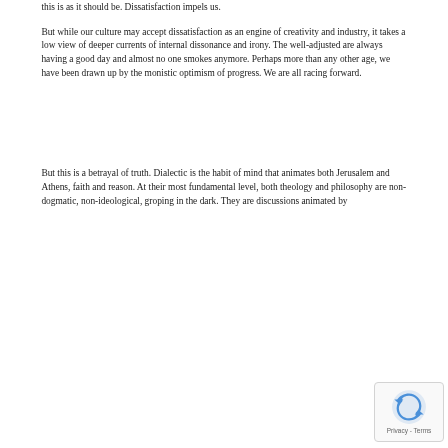this is as it should be. Dissatisfaction impels us.
But while our culture may accept dissatisfaction as an engine of creativity and industry, it takes a low view of deeper currents of internal dissonance and irony. The well-adjusted are always having a good day and almost no one smokes anymore. Perhaps more than any other age, we have been drawn up by the monistic optimism of progress. We are all racing forward.
But this is a betrayal of truth. Dialectic is the habit of mind that animates both Jerusalem and Athens, faith and reason. At their most fundamental level, both theology and philosophy are non-dogmatic, non-ideological, groping in the dark. They are discussions animated by
[Figure (other): reCAPTCHA badge overlay with Privacy - Terms text]